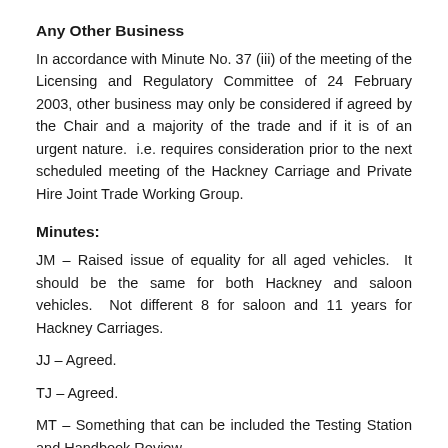Any Other Business
In accordance with Minute No. 37 (iii) of the meeting of the Licensing and Regulatory Committee of 24 February 2003, other business may only be considered if agreed by the Chair and a majority of the trade and if it is of an urgent nature. i.e. requires consideration prior to the next scheduled meeting of the Hackney Carriage and Private Hire Joint Trade Working Group.
Minutes:
JM – Raised issue of equality for all aged vehicles. It should be the same for both Hackney and saloon vehicles. Not different 8 for saloon and 11 years for Hackney Carriages.
JJ – Agreed.
TJ – Agreed.
MT – Something that can be included the Testing Station and Handbook Review.